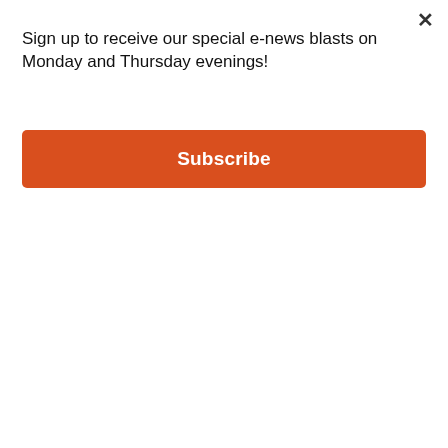Sign up to receive our special e-news blasts on Monday and Thursday evenings!
Subscribe
[Figure (photo): A hand holding a small white PTZ security camera with LED lights around the lens, with boxes of similar cameras in the background]
Homeowners Are Trading in Their Doorbell Cams for This.
Keilini
[Figure (photo): Partially visible blue-grey image below the article listing]